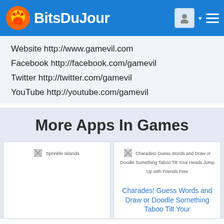BitsDuJour
Website http://www.gamevil.com
Facebook http://facebook.com/gamevil
Twitter http://twitter.com/gamevil
YouTube http://youtube.com/gamevil
More Apps In Games
[Figure (screenshot): Sprinkle Islands app card with broken image placeholder]
[Figure (screenshot): Charades! Guess Words and Draw or Doodle Something Taboo Tilt Your Heads Jump Up with Friends Free app card with broken image and title link]